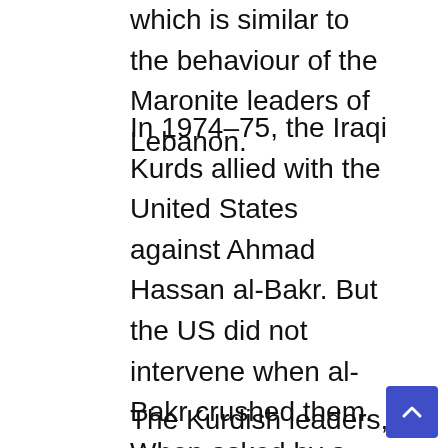which is similar to the behaviour of the Maronite leaders of Lebanon.
In 1974–75, the Iraqi Kurds allied with the United States against Ahmad Hassan al-Bakr. But the US did not intervene when al-Bakr crushed them. When asked by a senatorial commission if he was not ashamed of having abandoned the Kurds, Secretary of State Henry Kissinger coldly replied – «The foreign policy of the United States is not a philanthropic endeavour».
The Kurdish leaders, who had